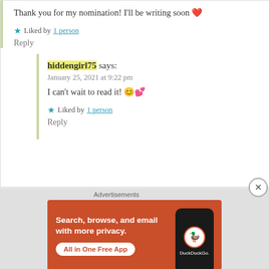Thank you for my nomination! I'll be writing soon ❤️
★ Liked by 1 person
Reply
hiddengirl75 says:
January 25, 2021 at 9:22 pm
I can't wait to read it! 😊💕
★ Liked by 1 person
Reply
Advertisements
[Figure (other): DuckDuckGo advertisement banner — orange background with text 'Search, browse, and email with more privacy. All in One Free App' and a phone with DuckDuckGo logo]